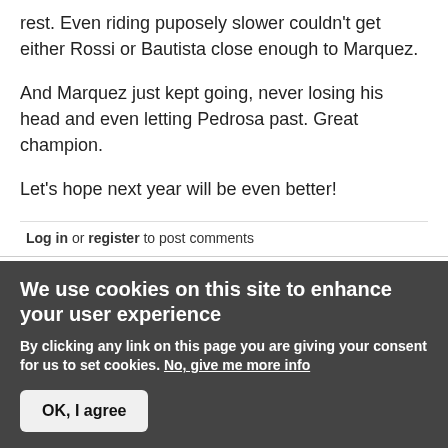rest. Even riding puposely slower couldn't get either Rossi or Bautista close enough to Marquez.
And Marquez just kept going, never losing his head and even letting Pedrosa past. Great champion.
Let's hope next year will be even better!
Log in or register to post comments
Marquez may have won the
Luiggi replied on Sun, 2013-11-10 15:54
We use cookies on this site to enhance your user experience
By clicking any link on this page you are giving your consent for us to set cookies. No, give me more info
OK, I agree